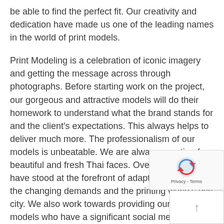be able to find the perfect fit. Our creativity and dedication have made us one of the leading names in the world of print models.
Print Modeling is a celebration of iconic imagery and getting the message across through photographs. Before starting work on the project, our gorgeous and attractive models will do their homework to understand what the brand stands for and the client's expectations. This always helps to deliver much more. The professionalism of our models is unbeatable. We are always scouting for beautiful and fresh Thai faces. Over the years, we have stood at the forefront of adapting ourselves to the changing demands and the printing world's dyn city. We also work towards providing our clients models who have a significant social media presence, which is always helpful with the print campaign.